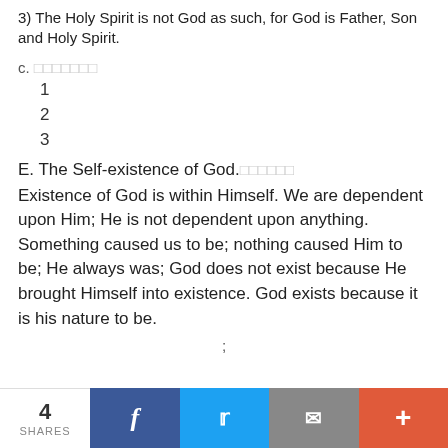3) The Holy Spirit is not God as such, for God is Father, Son and Holy Spirit.
c. □□□□□□□
1
2
3
E. The Self-existence of God.□□□□□□
Existence of God is within Himself. We are dependent upon Him; He is not dependent upon anything. Something caused us to be; nothing caused Him to be; He always was; God does not exist because He brought Himself into existence. God exists because it is his nature to be.
;
4 SHARES | Facebook | Twitter | Email | +